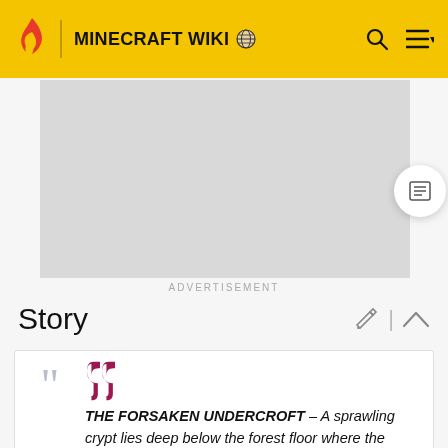MINECRAFT WIKI
[Figure (screenshot): Advertisement placeholder gray box]
ADVERTISEMENT
Story
THE FORSAKEN UNDERCROFT – A sprawling crypt lies deep below the forest floor where the Illagers believe they can continue their wicked work undisturbed. Will you stop them or will you get lost in the